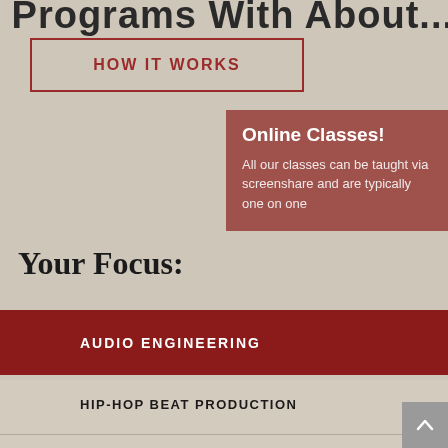Programs With About
HOW IT WORKS
Online Classes!
All our classes can be taught via screenshare and are typically one on one
Your Focus:
AUDIO ENGINEERING
HIP-HOP BEAT PRODUCTION
LIVE SOUND ENGINEERING
ELECTRONIC MUSIC - EDM
LIVE DJ PRODUCTION
MUSIC BUSINESS - START A LABEL